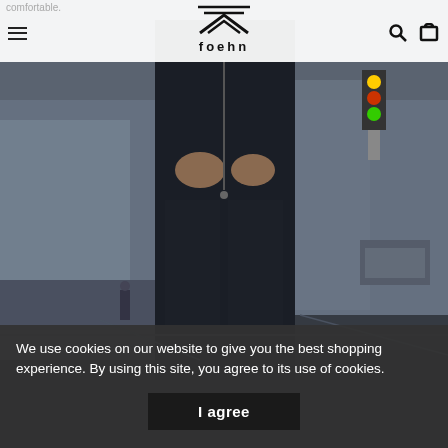comfortable.
foehn [logo with navigation icons]
[Figure (photo): A person standing on a wet urban street, wearing dark jeans and a dark jacket, with a rainy city background visible including traffic lights and vehicles.]
We use cookies on our website to give you the best shopping experience. By using this site, you agree to its use of cookies.
I agree